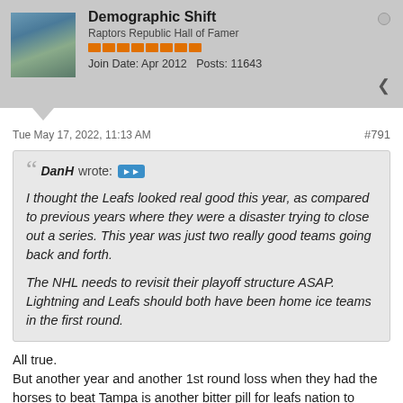Demographic Shift — Raptors Republic Hall of Famer — Join Date: Apr 2012   Posts: 11643
Tue May 17, 2022, 11:13 AM
#791
DanH wrote: I thought the Leafs looked real good this year, as compared to previous years where they were a disaster trying to close out a series. This year was just two really good teams going back and forth.

The NHL needs to revisit their playoff structure ASAP. Lightning and Leafs should both have been home ice teams in the first round.
All true.
But another year and another 1st round loss when they had the horses to beat Tampa is another bitter pill for leafs nation to choke down.